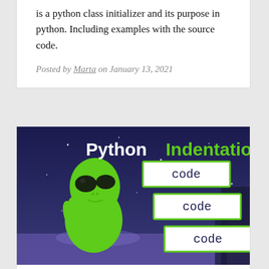is a python class initializer and its purpose in python. Including examples with the source code.
Posted by Marta on January 13, 2021
[Figure (illustration): Promotional image for Python Indentation article: dark blue/purple night sky background with a green alien character on the left side, and stacked white code boxes labeled 'code' with green borders on the right, text reads 'Python Indentation' in white and green.]
Python Indentation Error